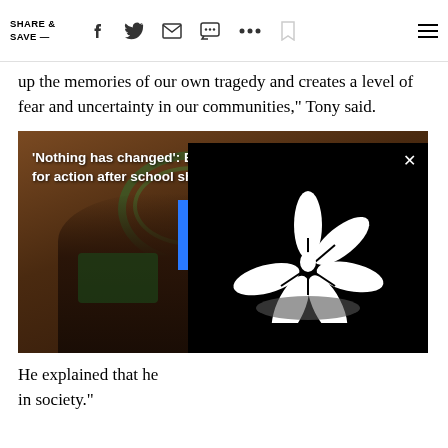SHARE & SAVE —
up the memories of our own tragedy and creates a level of fear and uncertainty in our communities," Tony said.
[Figure (screenshot): Video thumbnail showing Broward County sheriff at press conference with play button overlay and NBC logo panel. Title reads: 'Nothing has changed': Broward County sheriff calls for action after school shooting in Texas]
He explained that he [text continues offscreen] in society."